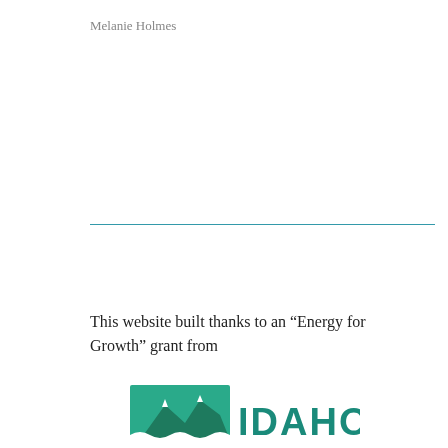Melanie Holmes
This website built thanks to an “Energy for Growth” grant from
[Figure (logo): Idaho state government logo showing mountains silhouette in green and teal with the word IDAHO in large teal letters]